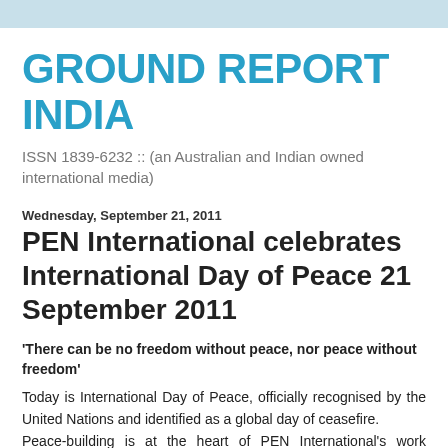GROUND REPORT INDIA
ISSN 1839-6232 :: (an Australian and Indian owned international media)
Wednesday, September 21, 2011
PEN International celebrates International Day of Peace 21 September 2011
'There can be no freedom without peace, nor peace without freedom'
Today is International Day of Peace, officially recognised by the United Nations and identified as a global day of ceasefire.
Peace-building is at the heart of PEN International's work celebrating